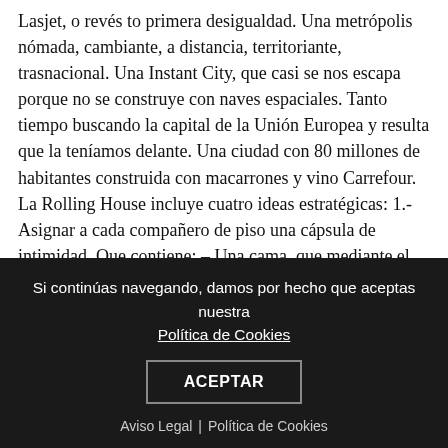Lasjet, o revés to primera desigualdad. Una metrópolis nómada, cambiante, a distancia, territoriante, trasnacional. Una Instant City, que casi se nos escapa porque no se construye con naves espaciales. Tanto tiempo buscando la capital de la Unión Europea y resulta que la teníamos delante. Una ciudad con 80 millones de habitantes construida con macarrones y vino Carrefour. La Rolling House incluye cuatro ideas estratégicas: 1.- Asignar a cada compañero de piso una cápsula de intimidad. Que contiene: – Una cama, que mediante el despliegue de un biombo-almacén, se transforma en un espacio social, un saloncito, en el que recibir a los posibles visitantes. – Un almacén de ropa y propiedades, diseñado como un baúl que fácilmente podrá ser transportado a una nueva casa compartida. – Un santuario, como el corcho en que pinchamos las fotos que no queremos olvidar. – Un invernadero, en que cuidar algo
Si continúas navegando, damos por hecho que aceptas nuestra Política de Cookies
ACEPTAR
Aviso Legal | Política de Cookies